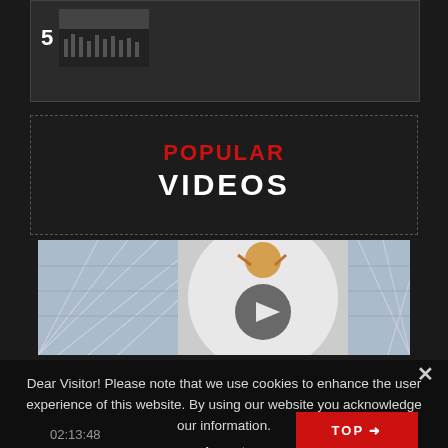[Figure (screenshot): Top card with number 5 badge and a video thumbnail showing an orchestra]
POPULAR VIDEOS
[Figure (screenshot): Video thumbnail showing a glass-roofed venue (Grand Palais) with a performer and play button overlay]
Dear Visitor! Please note that we use cookies to enhance the user experience of this website. By using our website you acknowledge our information.
Accept
02:13:48
TOP